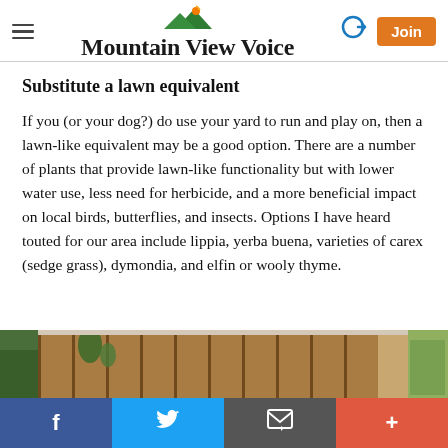Mountain View Voice
Substitute a lawn equivalent
If you (or your dog?) do use your yard to run and play on, then a lawn-like equivalent may be a good option. There are a number of plants that provide lawn-like functionality but with lower water use, less need for herbicide, and a more beneficial impact on local birds, butterflies, and insects. Options I have heard touted for our area include lippia, yerba buena, varieties of carex (sedge grass), dymondia, and elfin or wooly thyme.
[Figure (photo): Outdoor scene showing a wooden fence with vegetation, and trees in the background.]
Facebook | Twitter | Email | More